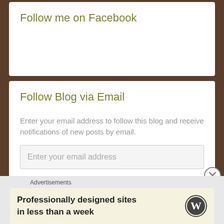Follow me on Facebook
Follow Blog via Email
Enter your email address to follow this blog and receive notifications of new posts by email.
Enter your email address
Follow
Advertisements
Professionally designed sites in less than a week